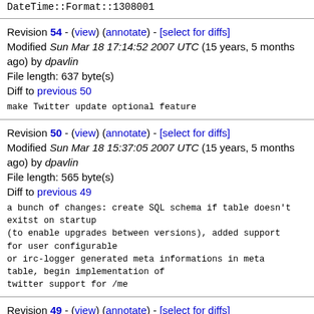DateTime::Format::1308001
Revision 54 - (view) (annotate) - [select for diffs]
Modified Sun Mar 18 17:14:52 2007 UTC (15 years, 5 months ago) by dpavlin
File length: 637 byte(s)
Diff to previous 50
make Twitter update optional feature
Revision 50 - (view) (annotate) - [select for diffs]
Modified Sun Mar 18 15:37:05 2007 UTC (15 years, 5 months ago) by dpavlin
File length: 565 byte(s)
Diff to previous 49
a bunch of changes: create SQL schema if table doesn't
exitst on startup
(to enable upgrades between versions), added support
for user configurable
or irc-logger generated meta informations in meta
table, begin implementation of
twitter support for /me
Revision 49 - (view) (annotate) - [select for diffs]
Modified Fri Mar 2 22:00:06 2007 UTC (15 years, 6 months ago) by dpavlin